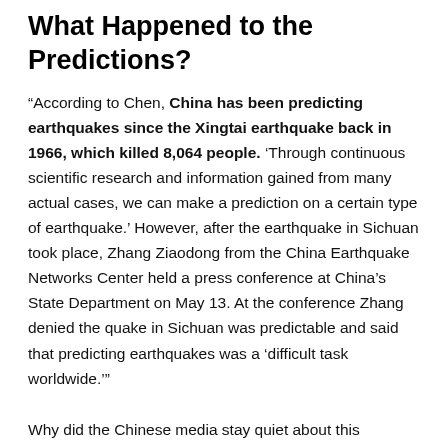What Happened to the Predictions?
“According to Chen, China has been predicting earthquakes since the Xingtai earthquake back in 1966, which killed 8,064 people. ‘Through continuous scientific research and information gained from many actual cases, we can make a prediction on a certain type of earthquake.’ However, after the earthquake in Sichuan took place, Zhang Ziaodong from the China Earthquake Networks Center held a press conference at China’s State Department on May 13. At the conference Zhang denied the quake in Sichuan was predictable and said that predicting earthquakes was a ‘difficult task worldwide.’”
Why did the Chinese media stay quiet about this important issue? “A frontline reporter disclosed that Beijing had sent out rules on reporting the earthquake. ‘To propagate...